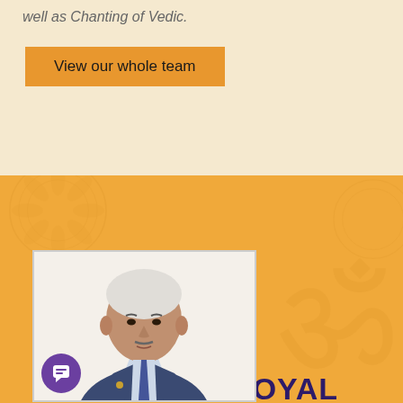well as Chanting of Vedic.
View our whole team
PRADEEP GOYAL
[Figure (photo): Portrait photo of Pradeep Goyal, an older man with grey hair wearing a blue suit and tie, with a small chat/support icon overlaid at the bottom left of the photo]